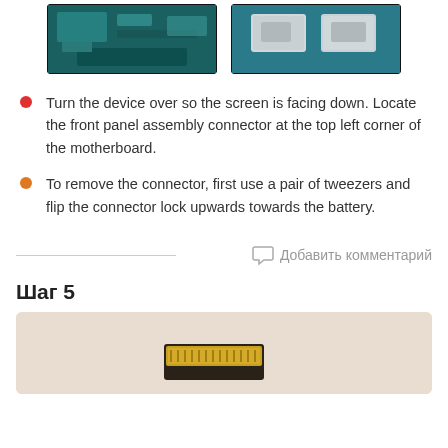[Figure (photo): Two photos of a device motherboard showing circuit components and connectors from above]
Turn the device over so the screen is facing down. Locate the front panel assembly connector at the top left corner of the motherboard.
To remove the connector, first use a pair of tweezers and flip the connector lock upwards towards the battery.
Добавить комментарий
Шаг 5
[Figure (photo): Close-up photo of a connector component being worked on, shown against a light beige background]